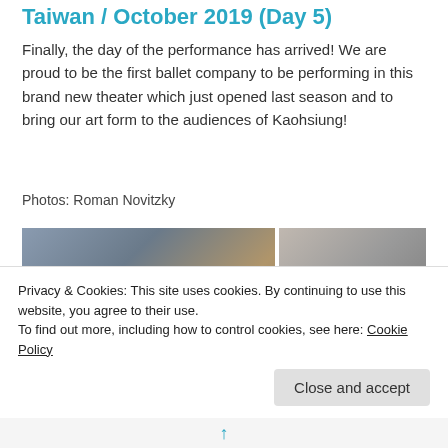Taiwan / October 2019 (Day 5)
Finally, the day of the performance has arrived! We are proud to be the first ballet company to be performing in this brand new theater which just opened last season and to bring our art form to the audiences of Kaohsiung!
Photos: Roman Novitzky
[Figure (photo): Two photos side by side: left photo shows ballet dancers rehearsing in a bright studio; right side has two stacked photos — top shows a large group of performers in black posing for a group shot, bottom shows a dark auditorium/theater interior.]
Privacy & Cookies: This site uses cookies. By continuing to use this website, you agree to their use.
To find out more, including how to control cookies, see here: Cookie Policy
Close and accept